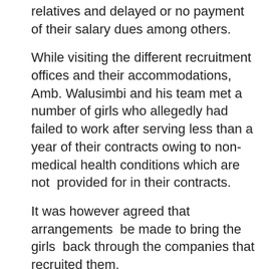relatives and delayed or no payment of their salary dues among others.
While visiting the different recruitment offices and their accommodations, Amb. Walusimbi and his team met a number of girls who allegedly had failed to work after serving less than a year of their contracts owing to non-medical health conditions which are not provided for in their contracts.
It was however agreed that arrangements be made to bring the girls back through the companies that recruited them.
Walusimbi also highlighted the need to increase funding to the Ugandan Mission in Saudi Arabia noting that although the embassy is renting a house to accommodate the distressed nationals, it's practically struggling financially to maintain the